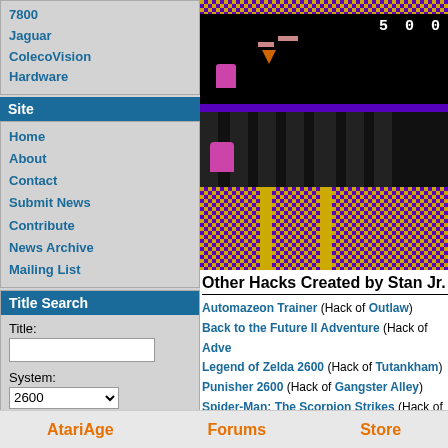7800
Jaguar
ColecoVision
Hardware
Site
Home
About
Contact
Submit News
Contribute
News Archive
Mailing List
Title Search
Title: System: 2600 Region: North America Search
[Figure (screenshot): Atari 2600 game screenshot showing a platformer game with checkerboard purple and gold background, black sky area with score 500, a character sprite on the left side.]
Other Hacks Created by Stan Jr.
Automazeon Trainer (Hack of Outlaw)
Back to the Future II Adventure (Hack of Adventure)
Legend of Zelda 2600 (Hack of Tutankham)
Punisher 2600 (Hack of Gangster Alley)
Spider-Man: The Scorpion Strikes (Hack of Spider-Man)
Undersea Adventure (Hack of Adventure)
View All Hacks
AtariAge   Forums   Store